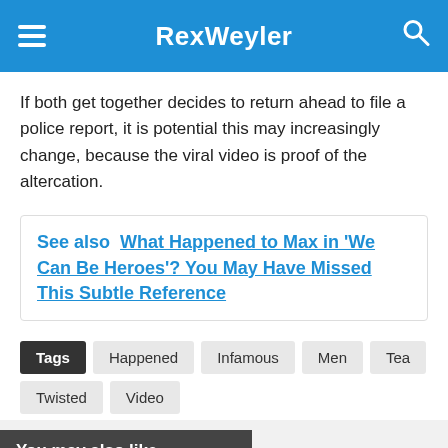RexWeyler
If both get together decides to return ahead to file a police report, it is potential this may increasingly change, because the viral video is proof of the altercation.
See also  What Happened to Max in 'We Can Be Heroes'? You May Have Missed This Subtle Reference
Tags  Happened  Infamous  Men  Tea  Twisted  Video
You may also like
[Figure (photo): Outdoor nature/garden scene with green foliage]